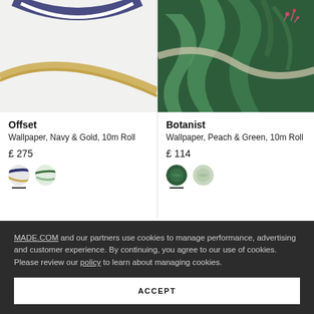[Figure (photo): Close-up of white wallpaper with navy blue circular stripe and gold curved element - Offset wallpaper product photo]
[Figure (photo): Close-up of botanical wallpaper with green tropical leaves and pink/red flowers on dark green background - Botanist wallpaper product photo]
Offset
Wallpaper, Navy & Gold, 10m Roll
£ 275
Botanist
Wallpaper, Peach & Green, 10m Roll
£ 114
MADE.COM and our partners use cookies to manage performance, advertising and customer experience. By continuing, you agree to our use of cookies. Please review our policy to learn about managing cookies.
ACCEPT